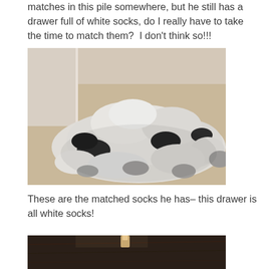matches in this pile somewhere, but he still has a drawer full of white socks, do I really have to take the time to match them?  I don't think so!!!
[Figure (photo): A large pile of unmatched white, grey, and black socks scattered on a beige carpeted floor near a door]
These are the matched socks he has– this drawer is all white socks!
[Figure (photo): A dark wooden dresser drawer partially open, shown from above]